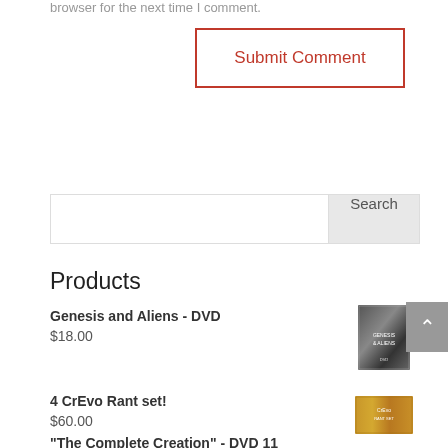browser for the next time I comment.
Submit Comment
Search
Products
Genesis and Aliens - DVD
$18.00
[Figure (photo): DVD cover for Genesis and Aliens]
4 CrEvo Rant set!
$60.00
[Figure (photo): Product image for 4 CrEvo Rant set]
"The Complete Creation" - DVD 11